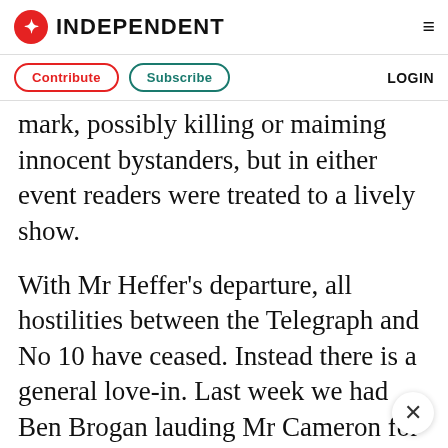INDEPENDENT
Contribute   Subscribe   LOGIN
mark, possibly killing or maiming innocent bystanders, but in either event readers were treated to a lively show.
With Mr Heffer's departure, all hostilities between the Telegraph and No 10 have ceased. Instead there is a general love-in. Last week we had Ben Brogan lauding Mr Cameron for increasing British overseas aid and Peter Oborne writing about the Prime Minister's "astonishing triumph" in establishing himself.